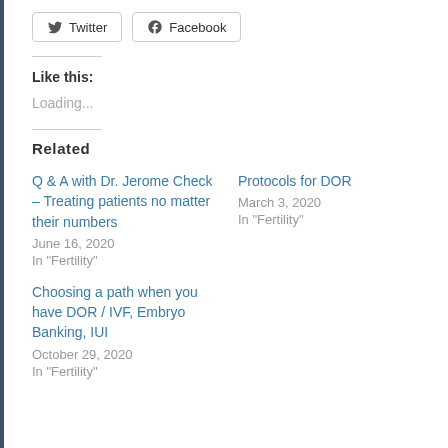[Figure (other): Twitter and Facebook share buttons]
Like this:
Loading...
Related
Q & A with Dr. Jerome Check – Treating patients no matter their numbers
June 16, 2020
In "Fertility"
Protocols for DOR
March 3, 2020
In "Fertility"
Choosing a path when you have DOR / IVF, Embryo Banking, IUI
October 29, 2020
In "Fertility"